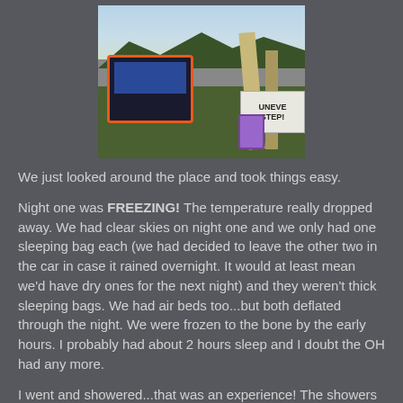[Figure (photo): Outdoor festival scene with a stage visible in the background, a wooden post structure, and a sign reading 'UNEVEN STEPS'. A purple barrel is visible. Green hills in the background.]
We just looked around the place and took things easy.
Night one was FREEZING! The temperature really dropped away. We had clear skies on night one and we only had one sleeping bag each (we had decided to leave the other two in the car in case it rained overnight. It would at least mean we'd have dry ones for the next night) and they weren't thick sleeping bags. We had air beds too...but both deflated through the night. We were frozen to the bone by the early hours. I probably had about 2 hours sleep and I doubt the OH had any more.
I went and showered...that was an experience! The showers themselves were great...but the cubicles were TINY and, well...you couldn't afford to be too modest or self-